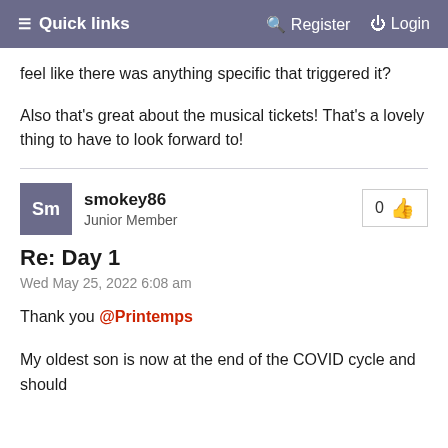≡ Quick links   🔍 Register   ⏻ Login
feel like there was anything specific that triggered it?
Also that's great about the musical tickets! That's a lovely thing to have to look forward to!
smokey86
Junior Member
Re: Day 1
Wed May 25, 2022 6:08 am
Thank you @Printemps
My oldest son is now at the end of the COVID cycle and should